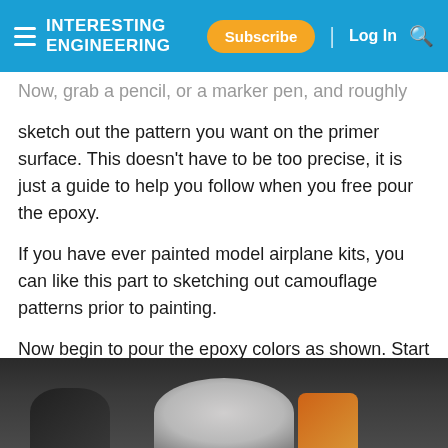Interesting Engineering — Subscribe | Log In
Now, grab a pencil, or a marker pen, and roughly sketch out the pattern you want on the primer surface. This doesn't have to be too precise, it is just a guide to help you follow when you free pour the epoxy.
If you have ever painted model airplane kits, you can like this part to sketching out camouflage patterns prior to painting.
Now begin to pour the epoxy colors as shown. Start with the base metallic colors and follow the sketched lines you made previously. Again, you don't need to be super precise here.
[Figure (photo): Partial view of a person working with epoxy, showing hands/object against a dark background with an orange element visible.]